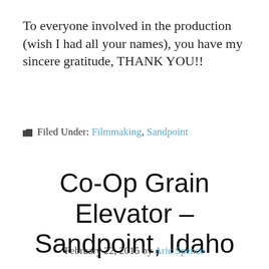To everyone involved in the production (wish I had all your names), you have my sincere gratitude, THANK YOU!!
Filed Under: Filmmaking, Sandpoint
Co-Op Grain Elevator – Sandpoint, Idaho
February 22, 2015 by Aric Spence